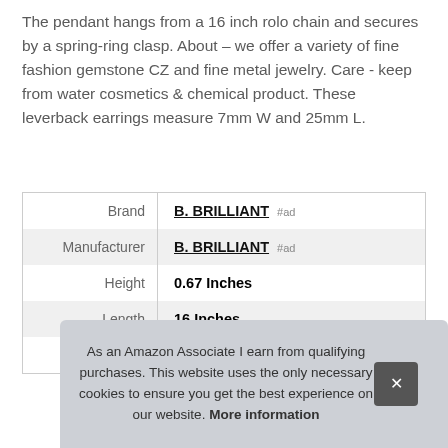The pendant hangs from a 16 inch rolo chain and secures by a spring-ring clasp. About – we offer a variety of fine fashion gemstone CZ and fine metal jewelry. Care - keep from water cosmetics & chemical product. These leverback earrings measure 7mm W and 25mm L.
|  |  |
| --- | --- |
| Brand | B. BRILLIANT #ad |
| Manufacturer | B. BRILLIANT #ad |
| Height | 0.67 Inches |
| Length | 16 Inches |
| Width | 0.28 Inches |
As an Amazon Associate I earn from qualifying purchases. This website uses the only necessary cookies to ensure you get the best experience on our website. More information